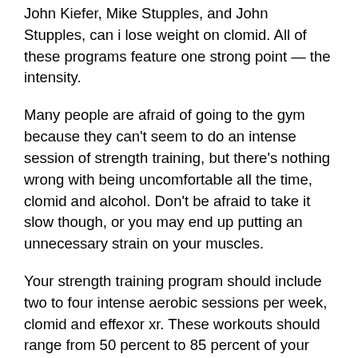John Kiefer, Mike Stupples, and John Stupples, can i lose weight on clomid. All of these programs feature one strong point — the intensity.
Many people are afraid of going to the gym because they can't seem to do an intense session of strength training, but there's nothing wrong with being uncomfortable all the time, clomid and alcohol. Don't be afraid to take it slow though, or you may end up putting an unnecessary strain on your muscles.
Your strength training program should include two to four intense aerobic sessions per week, clomid and effexor xr. These workouts should range from 50 percent to 85 percent of your 1RM. Some may even go as high as 90 percent of your 1 RM, clomid and letrozole combined success stories.